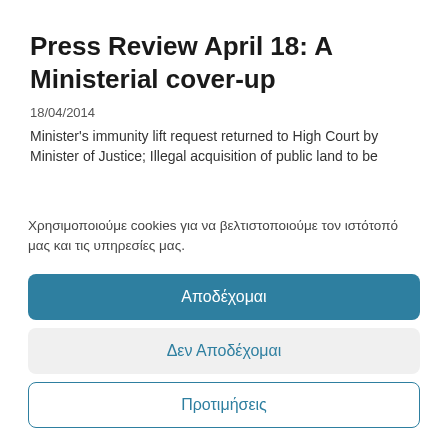Press Review April 18: A Ministerial cover-up
18/04/2014
Minister's immunity lift request returned to High Court by Minister of Justice; Illegal acquisition of public land to be
Χρησιμοποιούμε cookies για να βελτιστοποιούμε τον ιστότοπό μας και τις υπηρεσίες μας.
Αποδέχομαι
Δεν Αποδέχομαι
Προτιμήσεις